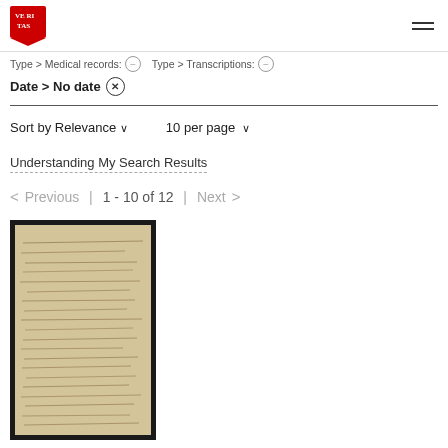[Figure (logo): Harvard University shield logo, red with VE RI TAS lettering]
Type > Medical records: ⊖   Type > Transcriptions: ⊖
Date > No date ⊗
Sort by Relevance ∨     10 per page ∨
Understanding My Search Results
< Previous  |  1 - 10 of 12  |  Next >
[Figure (photo): Thumbnail of a handwritten historical document on aged paper with dark border background]